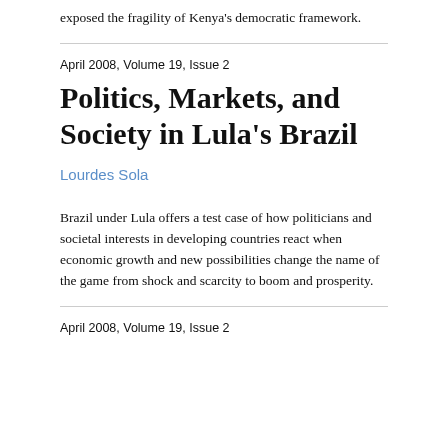exposed the fragility of Kenya's democratic framework.
April 2008, Volume 19, Issue 2
Politics, Markets, and Society in Lula's Brazil
Lourdes Sola
Brazil under Lula offers a test case of how politicians and societal interests in developing countries react when economic growth and new possibilities change the name of the game from shock and scarcity to boom and prosperity.
April 2008, Volume 19, Issue 2